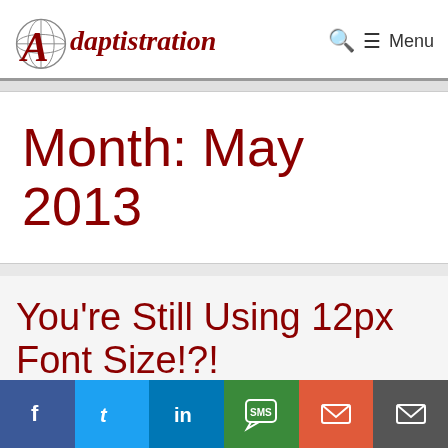Adaptistration — Menu
Month: May 2013
You're Still Using 12px Font Size!?!
Friday, May 24th, 2013 by Drew McManus
f  t  in  SMS  email  email